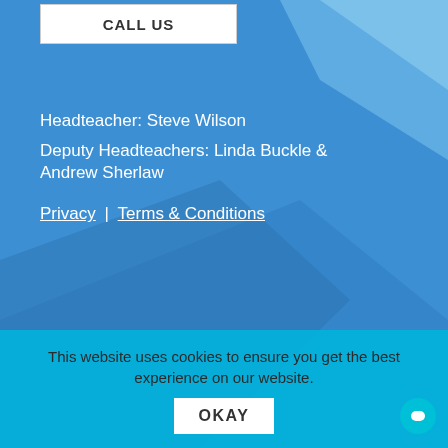CALL US
Headteacher: Steve Wilson
Deputy Headteachers: Linda Buckle & Andrew Sherlaw
Privacy | Terms & Conditions
This website uses cookies to ensure you get the best experience on our website.
OKAY